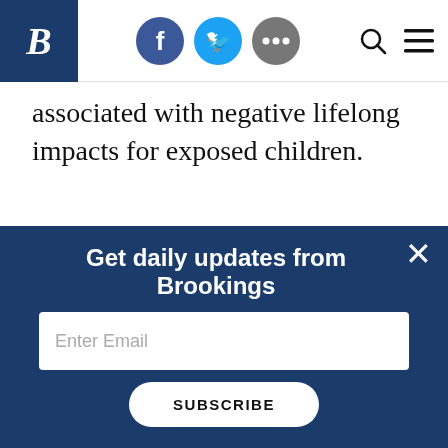Brookings Institution header with logo, social icons (Facebook, Twitter, more), search and menu
associated with negative lifelong impacts for exposed children.
ARP’s investments in broadband infrastructure represent a direct response to the pandemic-revealed need for reliable, high-speed internet access for remote school, work, and health care
Get daily updates from Brookings
Enter Email
SUBSCRIBE